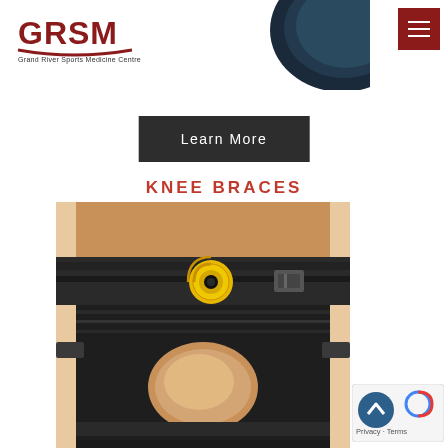[Figure (logo): GRSM Grand River Sports Medicine Centre logo in dark red with swoosh underline]
[Figure (photo): Partial blue/black rounded object visible in upper right corner]
[Figure (screenshot): Dark red hamburger menu button in upper right corner]
Learn More
KNEE BRACES
[Figure (photo): Close-up photo of a person's knee wearing a black knee brace with yellow circular logo and strap buckle]
[Figure (other): Back to top button (blue circle with up chevron) and reCAPTCHA privacy badge with Privacy and Terms text]